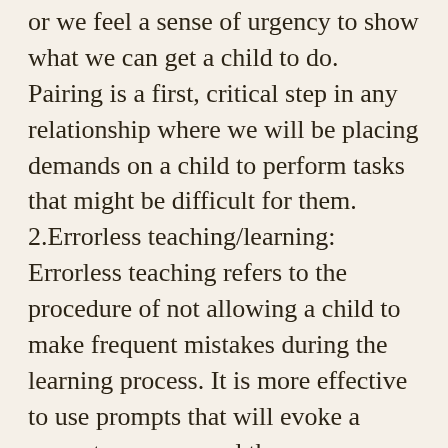or we feel a sense of urgency to show what we can get a child to do. Pairing is a first, critical step in any relationship where we will be placing demands on a child to perform tasks that might be difficult for them. 2.Errorless teaching/learning: Errorless teaching refers to the procedure of not allowing a child to make frequent mistakes during the learning process. It is more effective to use prompts that will evoke a correct response and then systematically fade those prompts so the child gains practice being correct. Nothing is more frustrating than being unsuccessful. The less a learner is wrong the more motivated they will remain and the less likely they are to engage in challenging behaviors to try to avoid the tasks. Determine what prompts a child needs to be successful, provide those prompts and then fade